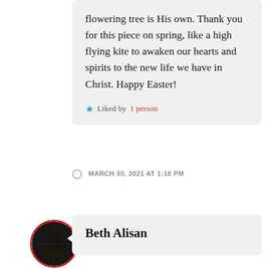flowering tree is His own. Thank you for this piece on spring, like a high flying kite to awaken our hearts and spirits to the new life we have in Christ. Happy Easter!
★ Liked by 1 person
MARCH 30, 2021 AT 1:18 PM
[Figure (photo): Circular avatar photo with red border showing a silhouette of a person, dark background]
Beth Alisan